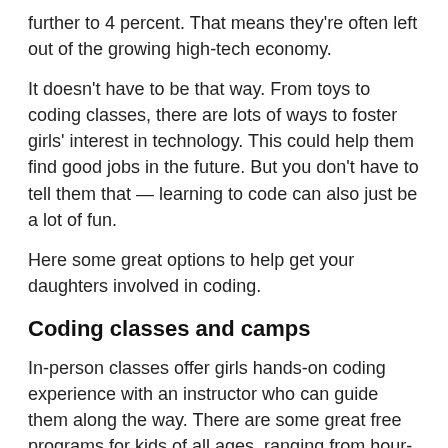further to 4 percent. That means they're often left out of the growing high-tech economy.
It doesn't have to be that way. From toys to coding classes, there are lots of ways to foster girls' interest in technology. This could help them find good jobs in the future. But you don't have to tell them that — learning to code can also just be a lot of fun.
Here some great options to help get your daughters involved in coding.
Coding classes and camps
In-person classes offer girls hands-on coding experience with an instructor who can guide them along the way. There are some great free programs for kids of all ages, ranging from hour-long classes to intensive seven-week summer camps.
Girls Who Code